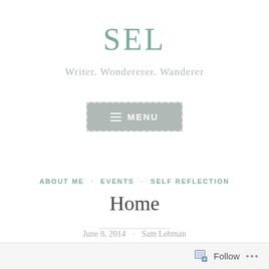SEL
Writer. Wondererer. Wanderer
[Figure (screenshot): Gray menu button with dashed border and hamburger icon labeled MENU]
ABOUT ME · EVENTS · SELF REFLECTION
Home
June 8, 2014 · Sam Lehman
Follow ...